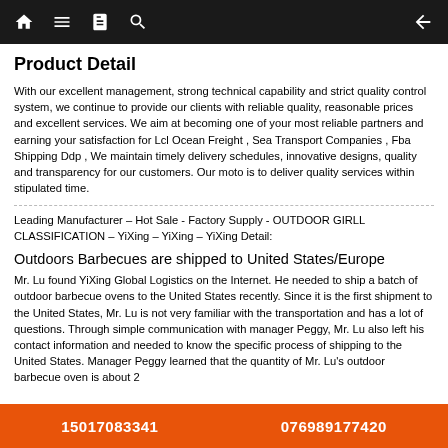Navigation bar with home, menu, book, search icons and back arrow
Product Detail
With our excellent management, strong technical capability and strict quality control system, we continue to provide our clients with reliable quality, reasonable prices and excellent services. We aim at becoming one of your most reliable partners and earning your satisfaction for Lcl Ocean Freight , Sea Transport Companies , Fba Shipping Ddp , We maintain timely delivery schedules, innovative designs, quality and transparency for our customers. Our moto is to deliver quality services within stipulated time.
Leading Manufacturer – Hot Sale - Factory Supply - OUTDOOR GIRLL CLASSIFICATION – YiXing – YiXing – YiXing Detail:
Outdoors Barbecues are shipped to United States/Europe
Mr. Lu found YiXing Global Logistics on the Internet. He needed to ship a batch of outdoor barbecue ovens to the United States recently. Since it is the first shipment to the United States, Mr. Lu is not very familiar with the transportation and has a lot of questions. Through simple communication with manager Peggy, Mr. Lu also left his contact information and needed to know the specific process of shipping to the United States. Manager Peggy learned that the quantity of Mr. Lu's outdoor barbecue oven is about 2...
15017083341   0769​89177420